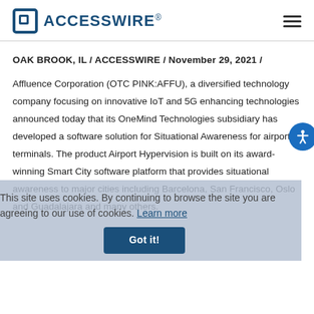ACCESSWIRE
OAK BROOK, IL / ACCESSWIRE / November 29, 2021 /
Affluence Corporation (OTC PINK:AFFU), a diversified technology company focusing on innovative IoT and 5G enhancing technologies announced today that its OneMind Technologies subsidiary has developed a software solution for Situational Awareness for airport terminals. The product Airport Hypervision is built on its award-winning Smart City software platform that provides situational awareness to major cities including Barcelona, San Francisco, Oslo and Guadalajara and many others.
"This is a breakthrough product and there is nothing else on the market that addresses the major issues that airports are facing in the
This site uses cookies. By continuing to browse the site you are agreeing to our use of cookies. Learn more